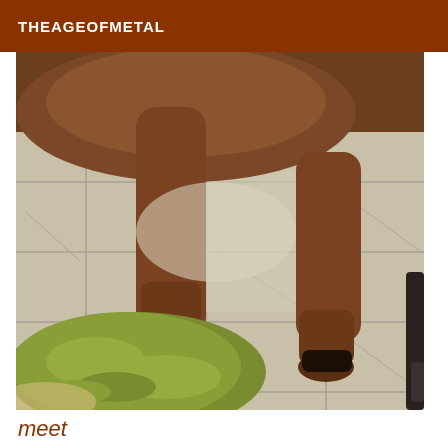THEAGEOFMETAL
[Figure (photo): Close-up photo of a dog's legs and paws standing on a tiled floor with a green round rug. The dog appears to be a large brown/tan short-haired breed. Two front legs are visible with dark hooves/paws, and there is a green shag rug in the lower left corner.]
meet